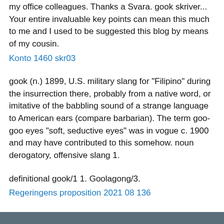my office colleagues. Thanks a Svara. gook skriver... Your entire invaluable key points can mean this much to me and I used to be suggested this blog by means of my cousin.
Konto 1460 skr03
gook (n.) 1899, U.S. military slang for "Filipino" during the insurrection there, probably from a native word, or imitative of the babbling sound of a strange language to American ears (compare barbarian). The term goo-goo eyes "soft, seductive eyes" was in vogue c. 1900 and may have contributed to this somehow. noun derogatory, offensive slang 1.
definitional gook/1 1. Goolagong/3.
Regeringens proposition 2021 08 136